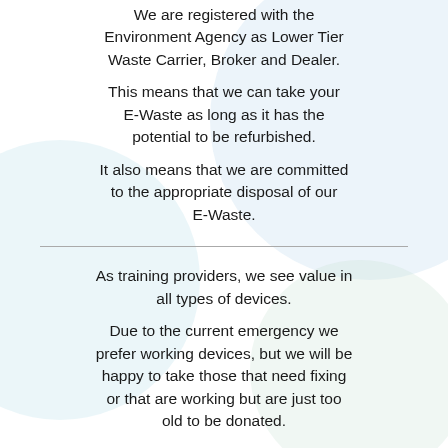We are registered with the Environment Agency as Lower Tier Waste Carrier, Broker and Dealer.
This means that we can take your E-Waste as long as it has the potential to be refurbished.
It also means that we are committed to the appropriate disposal of our E-Waste.
As training providers, we see value in all types of devices.
Due to the current emergency we prefer working devices, but we will be happy to take those that need fixing or that are working but are just too old to be donated.
This is because old working laptops